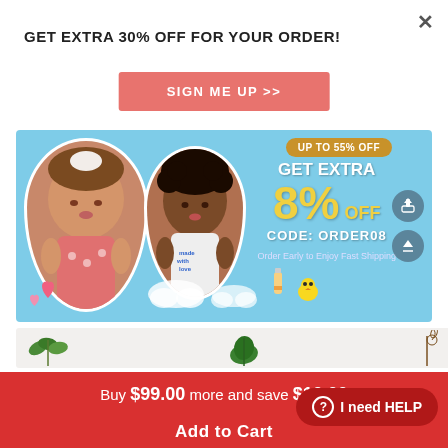GET EXTRA 30% OFF FOR YOUR ORDER!
SIGN ME UP >>
[Figure (photo): Promotional banner for reborn baby dolls. Blue background with two doll photos in scalloped white frames, hearts, baby bottle, chick decorations. Text overlay: UP TO 55% OFF, GET EXTRA 8% OFF, CODE: ORDER08, Order Early to Enjoy Fast Shipping.]
[Figure (photo): Nature/plant themed banner strip with leaves and butterfly decoration on light background.]
Buy $99.00 more and save $10.00
I need HELP
Add to Cart